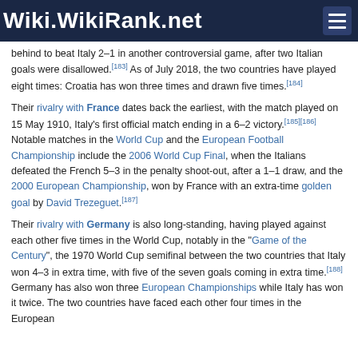Wiki.WikiRank.net
behind to beat Italy 2–1 in another controversial game, after two Italian goals were disallowed.[183] As of July 2018, the two countries have played eight times: Croatia has won three times and drawn five times.[184]
Their rivalry with France dates back the earliest, with the match played on 15 May 1910, Italy's first official match ending in a 6–2 victory.[185][186] Notable matches in the World Cup and the European Football Championship include the 2006 World Cup Final, when the Italians defeated the French 5–3 in the penalty shoot-out, after a 1–1 draw, and the 2000 European Championship, won by France with an extra-time golden goal by David Trezeguet.[187]
Their rivalry with Germany is also long-standing, having played against each other five times in the World Cup, notably in the "Game of the Century", the 1970 World Cup semifinal between the two countries that Italy won 4–3 in extra time, with five of the seven goals coming in extra time.[188] Germany has also won three European Championships while Italy has won it twice. The two countries have faced each other four times in the European